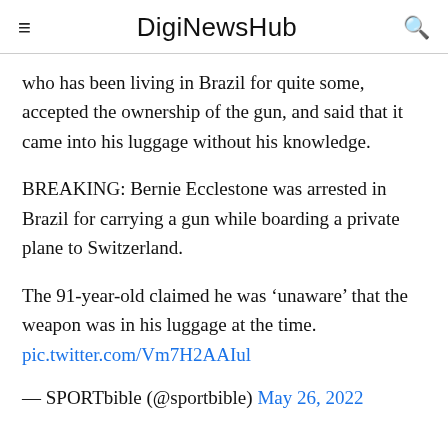DigiNewsHub
who has been living in Brazil for quite some, accepted the ownership of the gun, and said that it came into his luggage without his knowledge.
BREAKING: Bernie Ecclestone was arrested in Brazil for carrying a gun while boarding a private plane to Switzerland.
The 91-year-old claimed he was ‘unaware’ that the weapon was in his luggage at the time. pic.twitter.com/Vm7H2AAIul
— SPORTbible (@sportbible) May 26, 2022